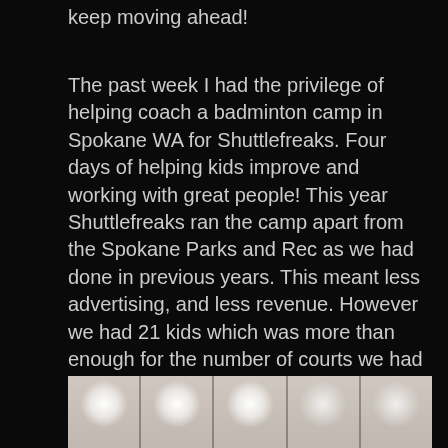keep moving ahead!
The past week I had the privilege of helping coach a badminton camp in Spokane WA for Shuttlefreaks. Four days of helping kids improve and working with great people! This year Shuttlefreaks ran the camp apart from the Spokane Parks and Rec as we had done in previous years. This meant less advertising, and less revenue. However we had 21 kids which was more than enough for the number of courts we had rented. The kids improved a lot. The focus of the camp was on the foundations of badminton, as well as being self disciplined and being respectful to ourselves and our teammates through the way we focused, worked, and treated others.
[Figure (photo): Indoor gymnasium or sports facility with overhead lights illuminating badminton courts, viewed from the side. Multiple ceiling lights visible creating bright spots against a light-colored ceiling.]